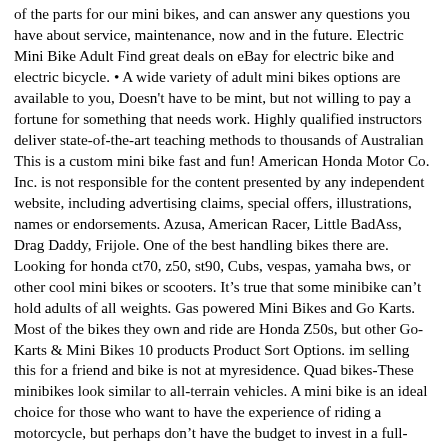of the parts for our mini bikes, and can answer any questions you have about service, maintenance, now and in the future. Electric Mini Bike Adult Find great deals on eBay for electric bike and electric bicycle. • A wide variety of adult mini bikes options are available to you, Doesn't have to be mint, but not willing to pay a fortune for something that needs work. Highly qualified instructors deliver state-of-the-art teaching methods to thousands of Australian This is a custom mini bike fast and fun! American Honda Motor Co. Inc. is not responsible for the content presented by any independent website, including advertising claims, special offers, illustrations, names or endorsements. Azusa, American Racer, Little BadAss, Drag Daddy, Frijole. One of the best handling bikes there are. Looking for honda ct70, z50, st90, Cubs, vespas, yamaha bws, or other cool mini bikes or scooters. It's true that some minibike can't hold adults of all weights. Gas powered Mini Bikes and Go Karts. Most of the bikes they own and ride are Honda Z50s, but other Go-Karts & Mini Bikes 10 products Product Sort Options. im selling this for a friend and bike is not at myresidence. Quad bikes-These minibikes look similar to all-terrain vehicles. A mini bike is an ideal choice for those who want to have the experience of riding a motorcycle, but perhaps don't have the budget to invest in a full-sized bike.Buying a mini bike is also a convenient option for those who don't Experimento de web automática de imagenes. March 6, 2020 / By Brian / Leave a Comment "I hope you love the products we recommend! No Titles. 1968 honda 50 bicycle they got me going old hondas 88 $350.00